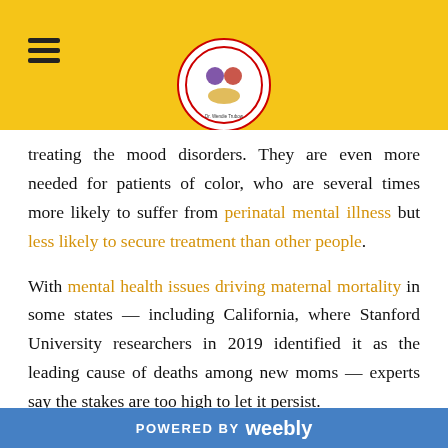treating the mood disorders. They are even more needed for patients of color, who are several times more likely to suffer from perinatal mental illness but less likely to secure treatment than other people.
With mental health issues driving maternal mortality in some states — including California, where Stanford University researchers in 2019 identified it as the leading cause of deaths among new moms — experts say the stakes are too high to let it persist.
People suffering from perinatal and postpartum depression
POWERED BY weebly